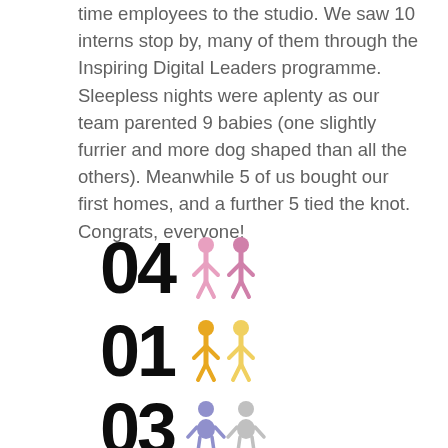time employees to the studio. We saw 10 interns stop by, many of them through the Inspiring Digital Leaders programme. Sleepless nights were aplenty as our team parented 9 babies (one slightly furrier and more dog shaped than all the others). Meanwhile 5 of us bought our first homes, and a further 5 tied the knot. Congrats, everyone!
[Figure (infographic): Stat row showing '04' in large bold black text with two pink adult human figure icons beside it]
[Figure (infographic): Stat row showing '01' in large bold black text with two yellow/gold adult human figure icons beside it]
[Figure (infographic): Stat row showing '03' in large bold black text with two purple/grey baby figure icons beside it]